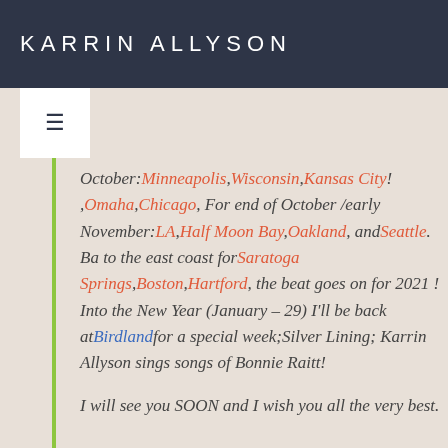KARRIN ALLYSON
October: Minneapolis, Wisconsin, Kansas City! ,Omaha,Chicago, For end of October /early November:LA,Half Moon Bay,Oakland, and Seattle. Back to the east coast for Saratoga Springs,Boston,Hartford, the beat goes on for 2021 ! Into the New Year (January – 29) I'll be back at Birdland for a special week; Silver Lining; Karrin Allyson sings songs of Bonnie Raitt! I will see you SOON and I wish you all the very best.
With Love,
Karrin